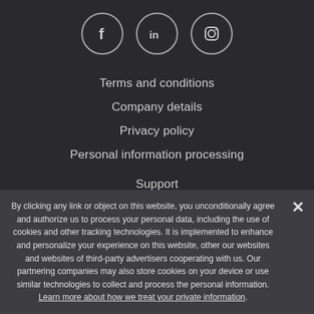[Figure (illustration): Three social media icons in circles: Facebook (f), LinkedIn (in), Instagram (camera icon)]
Terms and conditions
Company details
Privacy policy
Personal information processing
Support
Registration
Articles and reviews
Switch language: EN: English
By clicking any link or object on this website, you unconditionally agree and authorize us to process your personal data, including the use of cookies and other tracking technologies. It is implemented to enhance and personalize your experience on this website, other our websites and websites of third-party advertisers cooperating with us. Our partnering companies may also store cookies on your device or use similar technologies to collect and process the personal information. Learn more about how we treat your private information.